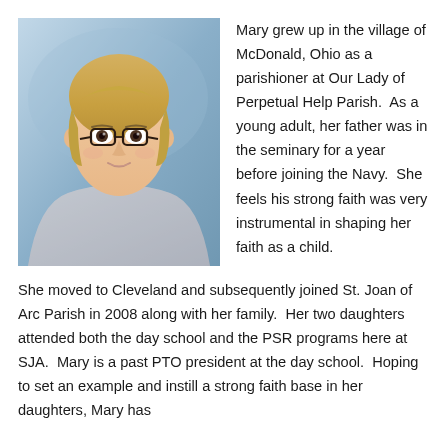[Figure (photo): Headshot photo of a middle-aged woman with short blonde hair and glasses, wearing a light patterned blouse, photographed against a blue background.]
Mary grew up in the village of McDonald, Ohio as a parishioner at Our Lady of Perpetual Help Parish.  As a young adult, her father was in the seminary for a year before joining the Navy.  She feels his strong faith was very instrumental in shaping her faith as a child.  She moved to Cleveland and subsequently joined St. Joan of Arc Parish in 2008 along with her family.  Her two daughters attended both the day school and the PSR programs here at SJA.  Mary is a past PTO president at the day school.  Hoping to set an example and instill a strong faith base in her daughters, Mary has